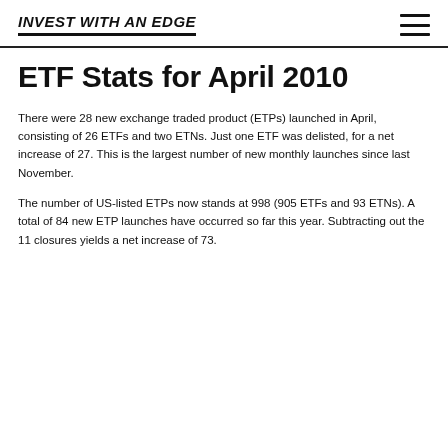INVEST WITH AN EDGE
ETF Stats for April 2010
There were 28 new exchange traded product (ETPs) launched in April, consisting of 26 ETFs and two ETNs. Just one ETF was delisted, for a net increase of 27. This is the largest number of new monthly launches since last November.
The number of US-listed ETPs now stands at 998 (905 ETFs and 93 ETNs). A total of 84 new ETP launches have occurred so far this year. Subtracting out the 11 closures yields a net increase of 73.